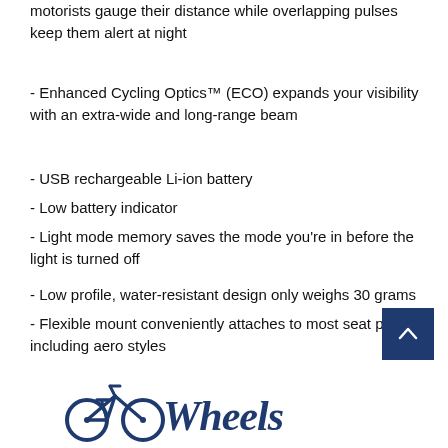motorists gauge their distance while overlapping pulses keep them alert at night
- Enhanced Cycling Optics™ (ECO) expands your visibility with an extra-wide and long-range beam
- USB rechargeable Li-ion battery
- Low battery indicator
- Light mode memory saves the mode you're in before the light is turned off
- Low profile, water-resistant design only weighs 30 grams
- Flexible mount conveniently attaches to most seat posts including aero styles
Patent pending.
*Features and specs are subject to change without notice.
[Figure (logo): Bicycle retailer logo at bottom of page with bicycle icon and stylized brand name]